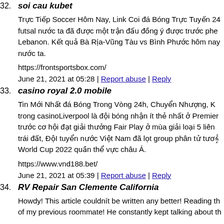32. soi cau kubet
Trực Tiếp Soccer Hôm Nay, Link Coi đá Bóng Trực Tuyến 24 futsal nước ta đã được một trận đấu đồng ý được trước phe Lebanon. Kết quả Bà Rịa-Vũng Tàu vs Bình Phước hôm nay nước ta.
https://frontsportsbox.com/
June 21, 2021 at 05:28 | Report abuse | Reply
33. casino royal 2.0 mobile
Tin Mới Nhất đá Bóng Trong Vòng 24h, Chuyển Nhượng, K trong casinoLiverpool là đội bóng nhận ít thẻ nhất ở Premier trước cơ hội đạt giải thưởng Fair Play ở mùa giải loại 5 liên trái đất, ĐộI tuyển nước Việt Nam đã lọt group phân tử tương World Cup 2022 quần thể vực châu Á.
https://www.vnd188.bet/
June 21, 2021 at 05:39 | Report abuse | Reply
34. RV Repair San Clemente California
Howdy! This article couldnít be written any better! Reading th of my previous roommate! He constantly kept talking about th